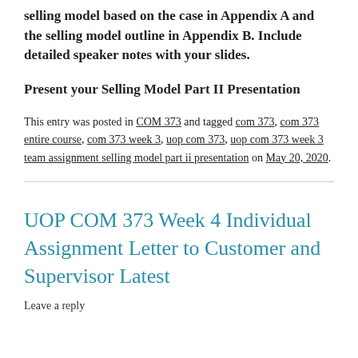selling model based on the case in Appendix A and the selling model outline in Appendix B. Include detailed speaker notes with your slides.
Present your Selling Model Part II Presentation
This entry was posted in COM 373 and tagged com 373, com 373 entire course, com 373 week 3, uop com 373, uop com 373 week 3 team assignment selling model part ii presentation on May 20, 2020.
UOP COM 373 Week 4 Individual Assignment Letter to Customer and Supervisor Latest
Leave a reply